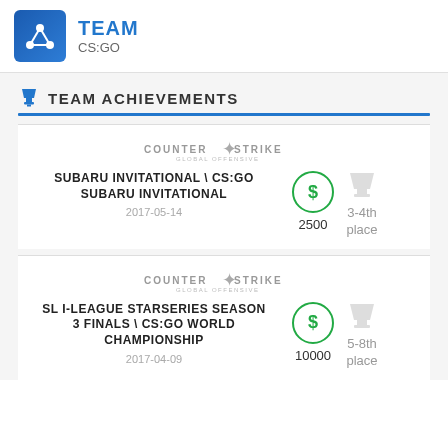TEAM CS:GO
TEAM ACHIEVEMENTS
SUBARU INVITATIONAL \ CS:GO SUBARU INVITATIONAL
2017-05-14
2500
3-4th place
SL I-LEAGUE STARSERIES SEASON 3 FINALS \ CS:GO WORLD CHAMPIONSHIP
2017-04-09
10000
5-8th place